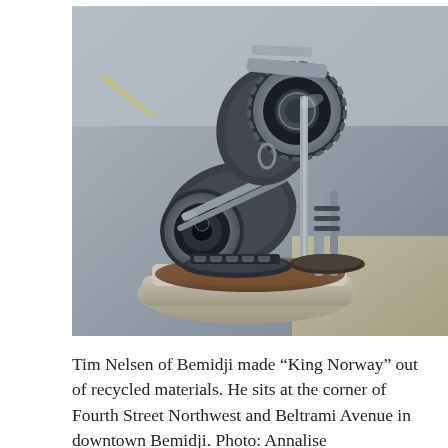[Figure (photo): A metal sculpture of a dog (cat-like pose, sitting/crouching) made from recycled mechanical parts including gears, chains, bolts, cylinders, and metal plates. The sculpture is positioned on a stone base outdoors on a sidewalk. The artwork is titled 'King Norway' by Tim Nelsen of Bemidji.]
Tim Nelsen of Bemidji made “King Norway” out of recycled materials. He sits at the corner of Fourth Street Northwest and Beltrami Avenue in downtown Bemidji. Photo: Annalise